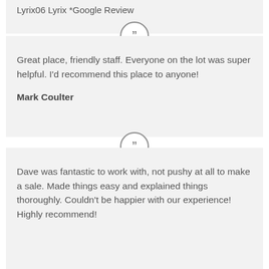Lyrix06 Lyrix *Google Review
Great place, friendly staff. Everyone on the lot was super helpful. I'd recommend this place to anyone!
Mark Coulter
Dave was fantastic to work with, not pushy at all to make a sale. Made things easy and explained things thoroughly. Couldn't be happier with our experience! Highly recommend!